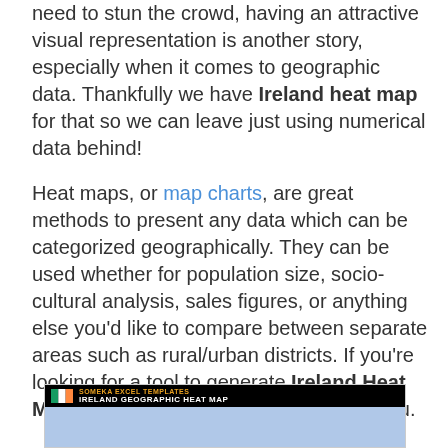need to stun the crowd, having an attractive visual representation is another story, especially when it comes to geographic data. Thankfully we have Ireland heat map for that so we can leave just using numerical data behind!
Heat maps, or map charts, are great methods to present any data which can be categorized geographically. They can be used whether for population size, socio-cultural analysis, sales figures, or anything else you'd like to compare between separate areas such as rural/urban districts. If you're looking for a tool to generate Ireland Heat Map, this Excel template is the one for you.
[Figure (screenshot): Screenshot of Ireland Geographic Heat Map Excel template header bar showing Irish flag, 'SOMEKA EXCEL TEMPLATES' label in orange, and 'IRELAND GEOGRAPHIC HEAT MAP' title in white on black background, with blue map preview below.]